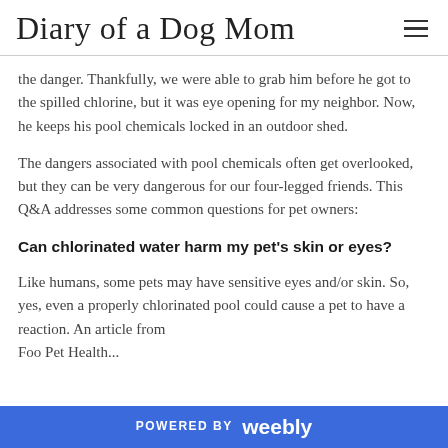Diary of a Dog Mom
the danger. Thankfully, we were able to grab him before he got to the spilled chlorine, but it was eye opening for my neighbor. Now, he keeps his pool chemicals locked in an outdoor shed.
The dangers associated with pool chemicals often get overlooked, but they can be very dangerous for our four-legged friends. This Q&A addresses some common questions for pet owners:
Can chlorinated water harm my pet's skin or eyes?
Like humans, some pets may have sensitive eyes and/or skin. So, yes, even a properly chlorinated pool could cause a pet to have a reaction. An article from Foo Pet Health...
POWERED BY weebly